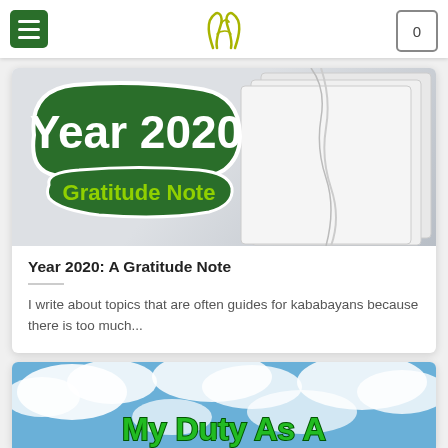Navigation header with menu, logo, and cart icon
[Figure (screenshot): Blog post card image: 'Year 2020 Gratitude Note' green badge over a notebook background]
Year 2020: A Gratitude Note
I write about topics that are often guides for kababayans because there is too much...
[Figure (photo): Second blog post card image showing blue sky with clouds and partial text 'My Duty As A']